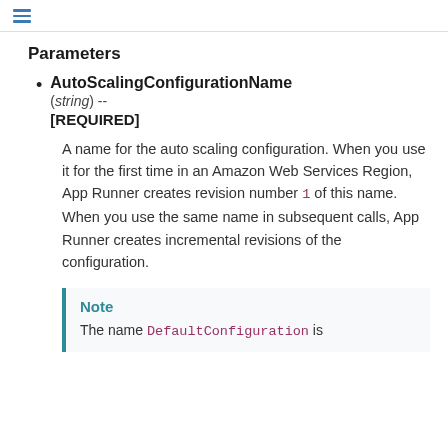≡
Parameters
AutoScalingConfigurationName (string) -- [REQUIRED]

A name for the auto scaling configuration. When you use it for the first time in an Amazon Web Services Region, App Runner creates revision number 1 of this name. When you use the same name in subsequent calls, App Runner creates incremental revisions of the configuration.
Note
The name DefaultConfiguration is